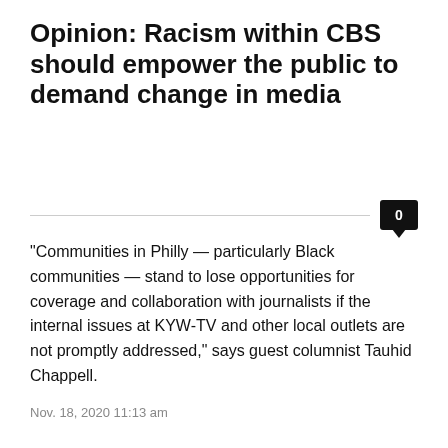Opinion: Racism within CBS should empower the public to demand change in media
"Communities in Philly — particularly Black communities — stand to lose opportunities for coverage and collaboration with journalists if the internal issues at KYW-TV and other local outlets are not promptly addressed," says guest columnist Tauhid Chappell.
Nov. 18, 2020 11:13 am